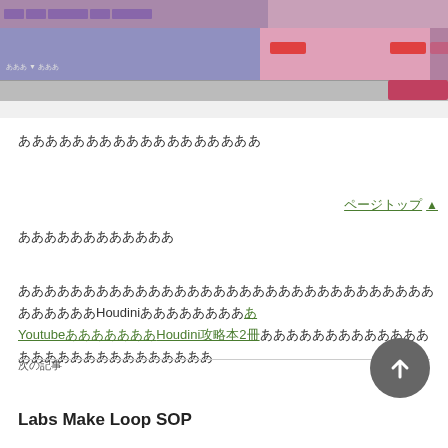[Figure (screenshot): Screenshot of a software interface (likely Houdini) with purple/pink UI panels, toolbar buttons, and red action buttons]
ああああああああああああああああああ
▲ ページトップ
ああああああああああああ
ああああああああああああああああああああああああああああああああああああああHoudiniああああああああ
YoutubeあああああああHoudini攻略本2冊あああああああああああああ
あああああああああああああああ
次の記事
Labs Make Loop SOP